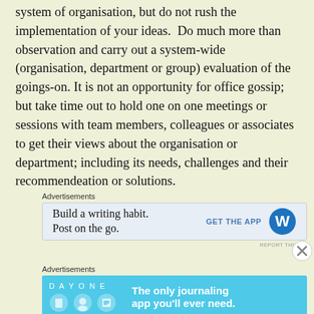system of organisation, but do not rush the implementation of your ideas.  Do much more than observation and carry out a system-wide (organisation, department or group) evaluation of the goings-on. It is not an opportunity for office gossip; but take time out to hold one on one meetings or sessions with team members, colleagues or associates to get their views about the organisation or department; including its needs, challenges and their recommendeation or solutions.
[Figure (other): WordPress advertisement: 'Build a writing habit. Post on the go.' with GET THE APP button and WordPress logo on light blue background]
[Figure (other): Day One app advertisement: 'DAY ONE - The only journaling app you'll ever need.' with app icons on cyan/blue background]